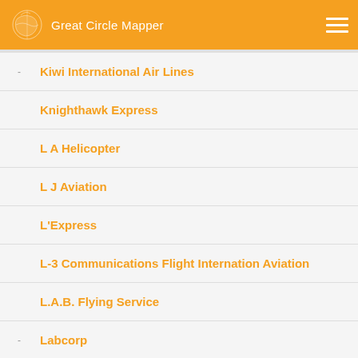Great Circle Mapper
Kiwi International Air Lines
Knighthawk Express
L A Helicopter
L J Aviation
L'Express
L-3 Communications Flight Internation Aviation
L.A.B. Flying Service
Labcorp
Lake Havasu Air Service
Lakeland Aviation
Laker Airways